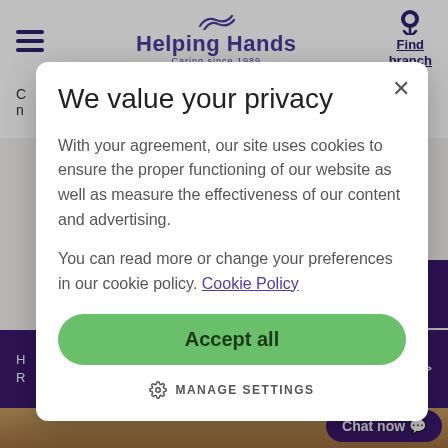Helping Hands — Caring since 1989
Find branch
We value your privacy
With your agreement, our site uses cookies to ensure the proper functioning of our website as well as measure the effectiveness of our content and advertising.
You can read more or change your preferences in our cookie policy. Cookie Policy
Accept all
MANAGE SETTINGS
Chat now